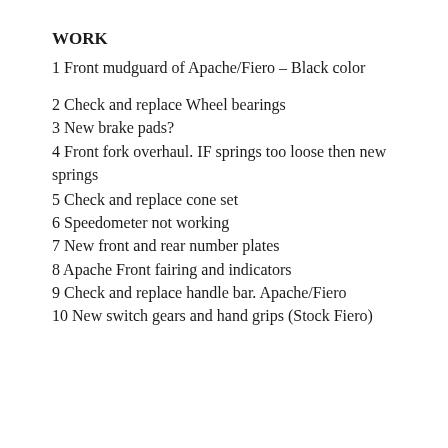WORK
1 Front mudguard of Apache/Fiero – Black color
2 Check and replace Wheel bearings
3 New brake pads?
4 Front fork overhaul. IF springs too loose then new springs
5 Check and replace cone set
6 Speedometer not working
7 New front and rear number plates
8 Apache Front fairing and indicators
9 Check and replace handle bar. Apache/Fiero
10 New switch gears and hand grips (Stock Fiero)